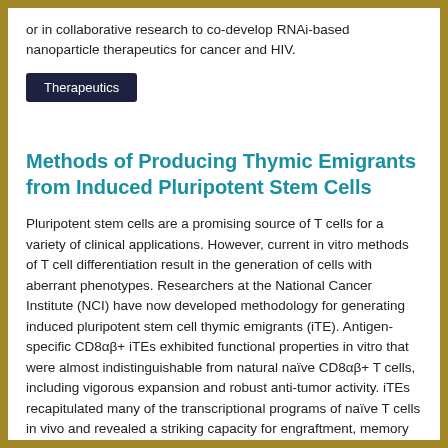or in collaborative research to co-develop RNAi-based nanoparticle therapeutics for cancer and HIV.
Therapeutics
Methods of Producing Thymic Emigrants from Induced Pluripotent Stem Cells
Pluripotent stem cells are a promising source of T cells for a variety of clinical applications. However, current in vitro methods of T cell differentiation result in the generation of cells with aberrant phenotypes. Researchers at the National Cancer Institute (NCI) have now developed methodology for generating induced pluripotent stem cell thymic emigrants (iTE). Antigen-specific CD8αβ+ iTEs exhibited functional properties in vitro that were almost indistinguishable from natural naïve CD8αβ+ T cells, including vigorous expansion and robust anti-tumor activity. iTEs recapitulated many of the transcriptional programs of naïve T cells in vivo and revealed a striking capacity for engraftment, memory